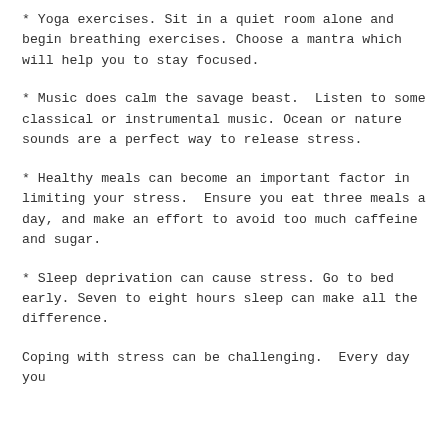* Yoga exercises. Sit in a quiet room alone and begin breathing exercises. Choose a mantra which will help you to stay focused.
* Music does calm the savage beast.  Listen to some classical or instrumental music. Ocean or nature sounds are a perfect way to release stress.
* Healthy meals can become an important factor in limiting your stress.  Ensure you eat three meals a day, and make an effort to avoid too much caffeine and sugar.
* Sleep deprivation can cause stress. Go to bed early. Seven to eight hours sleep can make all the difference.
Coping with stress can be challenging.  Every day you